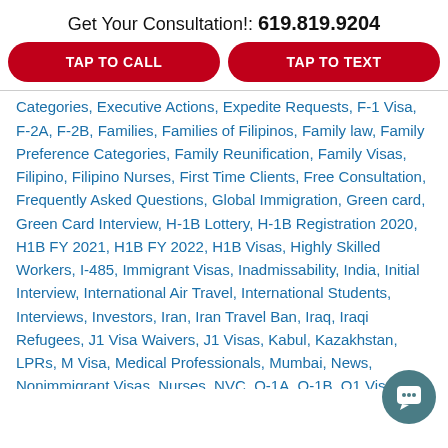Get Your Consultation!: 619.819.9204
TAP TO CALL
TAP TO TEXT
Categories, Executive Actions, Expedite Requests, F-1 Visa, F-2A, F-2B, Families, Families of Filipinos, Family law, Family Preference Categories, Family Reunification, Family Visas, Filipino, Filipino Nurses, First Time Clients, Free Consultation, Frequently Asked Questions, Global Immigration, Green card, Green Card Interview, H-1B Lottery, H-1B Registration 2020, H1B FY 2021, H1B FY 2022, H1B Visas, Highly Skilled Workers, I-485, Immigrant Visas, Inadmissability, India, Initial Interview, International Air Travel, International Students, Interviews, Investors, Iran, Iran Travel Ban, Iraq, Iraqi Refugees, J1 Visa Waivers, J1 Visas, Kabul, Kazakhstan, LPRs, M Visa, Medical Professionals, Mumbai, News, Nonimmigrant Visas, Nurses, NVC, O-1A, O-1B, O1 Visas, People's Republic of China, Permanent Resident, Philippines, Policies, Presidential Proclamations, Professionals, Refugee Admissions, Refugees, Special Immigrants, STEM, Student Visas, Technology Workers